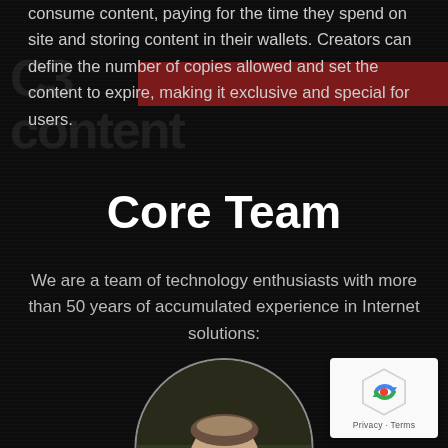consume content, paying for the time they spend on site and storing content in their wallets. Creators can define the number of copies allowed and set the content to expire, making it exclusive and special for users.
Core Team
We are a team of technology enthusiasts with more than 50 years of accumulated experience in Internet solutions:
[Figure (photo): Circular portrait photo of a man with glasses and short hair, partially cropped at bottom of page]